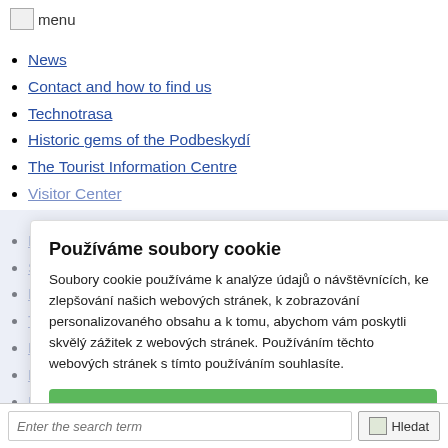menu
News
Contact and how to find us
Technotrasa
Historic gems of the Podbeskydí
The Tourist Information Centre
Visitor Center
Nový Jičín craft fair
Sale ticket
Fajpsmithing workshop
Tourist routes
Hiking routes
Monuments and points of interest
History of Nový Jičín
Photographic galleries
Companies and services
Culture and sport
Používáme soubory cookie
Soubory cookie používáme k analýze údajů o návštěvnících, ke zlepšování našich webových stránek, k zobrazování personalizovaného obsahu a k tomu, abychom vám poskytli skvělý zážitek z webových stránek. Používáním těchto webových stránek s tímto používáním souhlasíte.
Souhlasím s použitím všech souborů cookies
Nastavení cookies
Enter the search term
Hledat